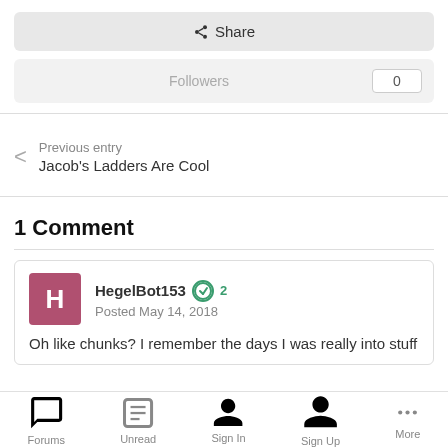Share
Followers 0
Previous entry
Jacob's Ladders Are Cool
1 Comment
HegelBot153 +2 Posted May 14, 2018
Oh like chunks? I remember the days I was really into stuff
Forums  Unread  Sign In  Sign Up  More